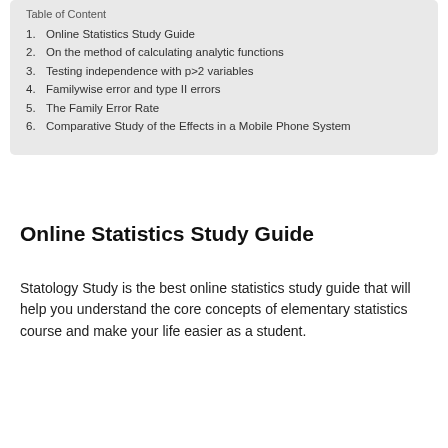1. Online Statistics Study Guide
2. On the method of calculating analytic functions
3. Testing independence with p>2 variables
4. Familywise error and type II errors
5. The Family Error Rate
6. Comparative Study of the Effects in a Mobile Phone System
Online Statistics Study Guide
Statology Study is the best online statistics study guide that will help you understand the core concepts of elementary statistics course and make your life easier as a student.